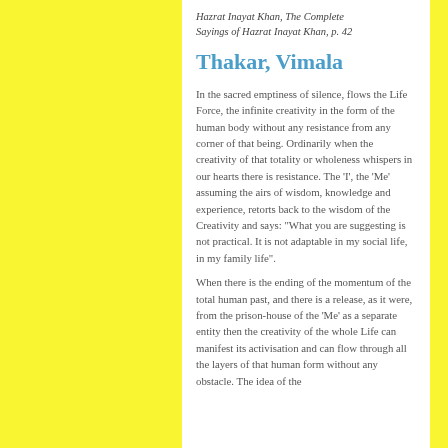Hazrat Inayat Khan, The Complete Sayings of Hazrat Inayat Khan, p. 42
Thakar, Vimala
In the sacred emptiness of silence, flows the Life Force, the infinite creativity in the form of the human body without any resistance from any corner of that being. Ordinarily when the creativity of that totality or wholeness whispers in our hearts there is resistance. The 'I', the 'Me' assuming the airs of wisdom, knowledge and experience, retorts back to the wisdom of the Creativity and says: "What you are suggesting is not practical. It is not adaptable in my social life, in my family life".
When there is the ending of the momentum of the total human past, and there is a release, as it were, from the prison-house of the 'Me' as a separate entity then the creativity of the whole Life can manifest its activisation and can flow through all the layers of that human form without any obstacle. The idea of the